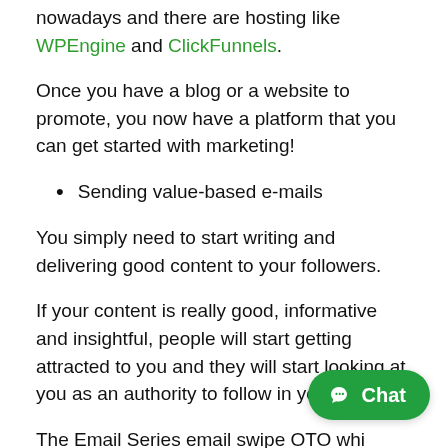nowadays and there are hosting like WPEngine and ClickFunnels.
Once you have a blog or a website to promote, you now have a platform that you can get started with marketing!
Sending value-based e-mails
You simply need to start writing and delivering good content to your followers.
If your content is really good, informative and insightful, people will start getting attracted to you and they will start looking at you as an authority to follow in your field.
The Email Series email swipe OTO whi... 30 high converting and beautifully written call to